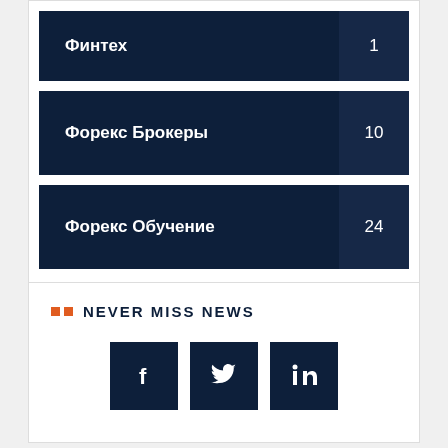Финтех 1
Форекс Брокеры 10
Форекс Обучение 24
NEVER MISS NEWS
[Figure (other): Social media icons: Facebook, Twitter, LinkedIn]